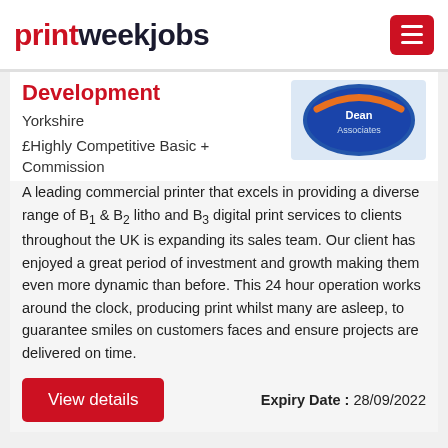printweekjobs
Development
Yorkshire
£Highly Competitive Basic + Commission
[Figure (logo): Dean Associates company logo — circular blue and orange badge]
A leading commercial printer that excels in providing a diverse range of B1 & B2 litho and B3 digital print services to clients throughout the UK is expanding its sales team. Our client has enjoyed a great period of investment and growth making them even more dynamic than before. This 24 hour operation works around the clock, producing print whilst many are asleep, to guarantee smiles on customers faces and ensure projects are delivered on time.
Expiry Date : 28/09/2022
View details